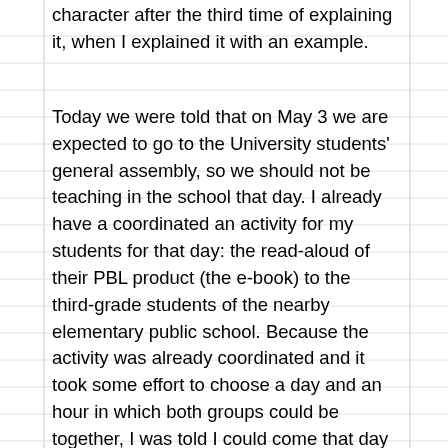character after the third time of explaining it, when I explained it with an example.
Today we were told that on May 3 we are expected to go to the University students' general assembly, so we should not be teaching in the school that day. I already have a coordinated an activity for my students for that day: the read-aloud of their PBL product (the e-book) to the third-grade students of the nearby elementary public school. Because the activity was already coordinated and it took some effort to choose a day and an hour in which both groups could be together, I was told I could come that day to the school. I had barely come to students' assemblies, I came to two the last year and I had a lot of anxiety when I was there because I am usually against strikes, and my University campus is very well known for its students' strikes. I had rarely agreed with doing a student strike, although I had